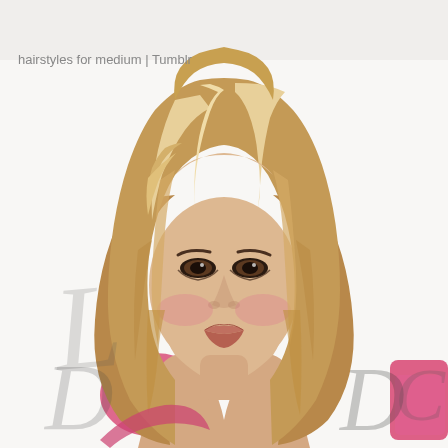hairstyles for medium | Tumblr
[Figure (photo): A woman with medium-length layered blonde hair with highlights, styled with volume on top and side-swept bangs. She is photographed at an event in front of a white branded backdrop featuring script lettering in black and pink decorative elements.]